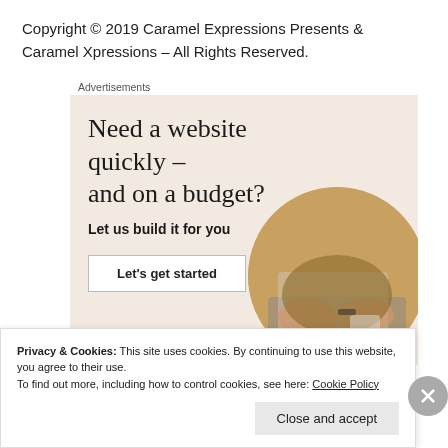Copyright © 2019 Caramel Expressions Presents & Caramel Xpressions – All Rights Reserved.
Advertisements
[Figure (infographic): Advertisement banner with beige background showing headline 'Need a website quickly – and on a budget?', subheading 'Let us build it for you', a 'Let's get started' button, and a circular photo of a person working on a laptop.]
Privacy & Cookies: This site uses cookies. By continuing to use this website, you agree to their use.
To find out more, including how to control cookies, see here: Cookie Policy
Close and accept